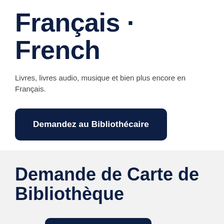Français · French
Livres, livres audio, musique et bien plus encore en Français.
Demandez au Bibliothécaire
Demande de Carte de Bibliothèque
Application